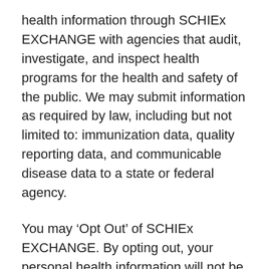health information through SCHIEx EXCHANGE with agencies that audit, investigate, and inspect health programs for the health and safety of the public. We may submit information as required by law, including but not limited to: immunization data, quality reporting data, and communicable disease data to a state or federal agency.
You may ‘Opt Out’ of SCHIEx EXCHANGE. By opting out, your personal health information will not be shared through SCHIEx EXCHANGE.
If you wish to opt out of SCHIEx EXCHANGE, you must ask for, complete, and sign an Opt